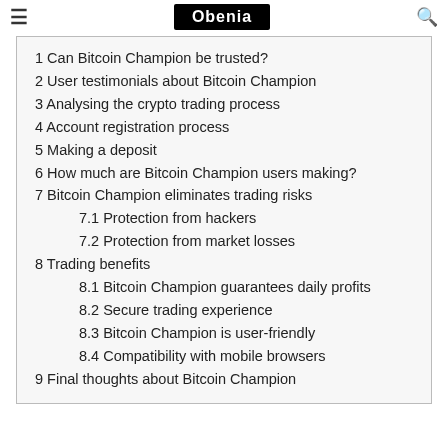Obenia
1 Can Bitcoin Champion be trusted?
2 User testimonials about Bitcoin Champion
3 Analysing the crypto trading process
4 Account registration process
5 Making a deposit
6 How much are Bitcoin Champion users making?
7 Bitcoin Champion eliminates trading risks
7.1 Protection from hackers
7.2 Protection from market losses
8 Trading benefits
8.1 Bitcoin Champion guarantees daily profits
8.2 Secure trading experience
8.3 Bitcoin Champion is user-friendly
8.4 Compatibility with mobile browsers
9 Final thoughts about Bitcoin Champion